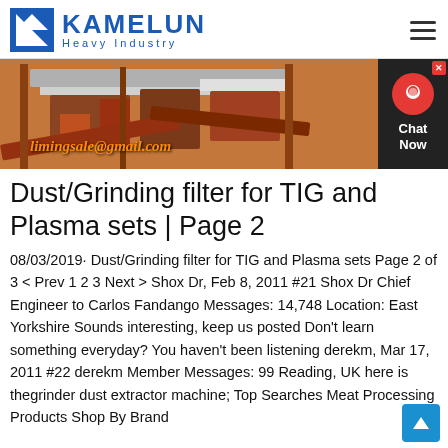KAMELUN Heavy Industry
[Figure (photo): Industrial machinery / heavy equipment at a processing facility with red and white structures. Email overlay: limingsale@gmail.com. Chat widget on right side with red circular icon, Chat Now label.]
Dust/Grinding filter for TIG and Plasma sets | Page 2
08/03/2019· Dust/Grinding filter for TIG and Plasma sets Page 2 of 3 < Prev 1 2 3 Next > Shox Dr, Feb 8, 2011 #21 Shox Dr Chief Engineer to Carlos Fandango Messages: 14,748 Location: East Yorkshire Sounds interesting, keep us posted Don't learn something everyday? You haven't been listening derekm, Mar 17, 2011 #22 derekm Member Messages: 99 Reading, UK here is thegrinder dust extractor machine; Top Searches Meat Processing Products Shop By Brand